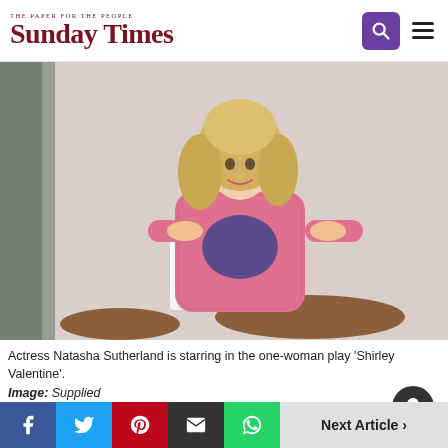The Paper for the People — Sunday Times
[Figure (photo): Actress Natasha Sutherland on stage, standing behind a white chair, wearing a pink patterned jacket over a purple top, with a round wooden table in the background.]
Actress Natasha Sutherland is starring in the one-woman play 'Shirley Valentine'. Image: Supplied
Actress Natasha Sutherland is back on stage in Joburg
Next Article >